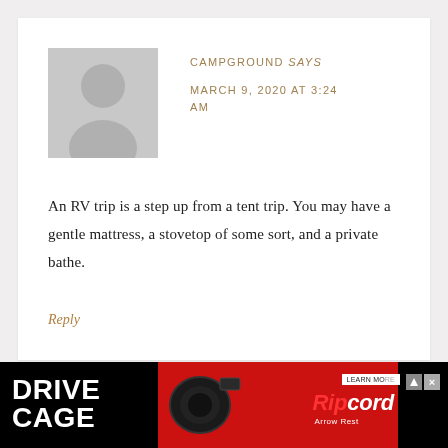[Figure (illustration): Default user avatar — gray silhouette of a person on a light gray square background]
CAMPGROUND says
MARCH 9, 2020 AT 3:24 AM
An RV trip is a step up from a tent trip. You may have a gentle mattress, a stovetop of some sort, and a private bathe.
Reply
[Figure (screenshot): Advertisement banner: Drive Cage and Ripcord Arrow Rest ad on black and red background]